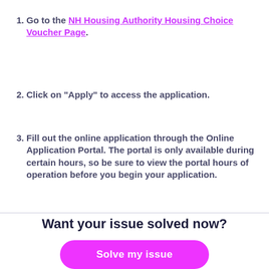1. Go to the NH Housing Authority Housing Choice Voucher Page.
2. Click on "Apply" to access the application.
3. Fill out the online application through the Online Application Portal. The portal is only available during certain hours, so be sure to view the portal hours of operation before you begin your application.
Want your issue solved now?
Solve my issue